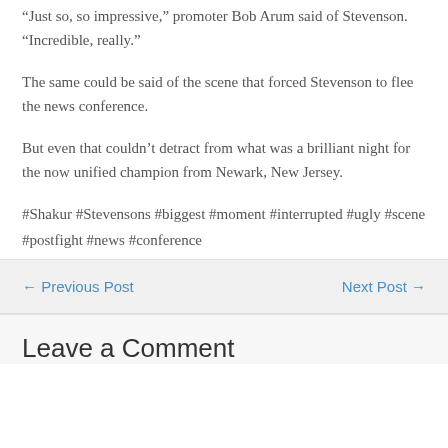“Just so, so impressive,” promoter Bob Arum said of Stevenson. “Incredible, really.”
The same could be said of the scene that forced Stevenson to flee the news conference.
But even that couldn’t detract from what was a brilliant night for the now unified champion from Newark, New Jersey.
#Shakur #Stevensons #biggest #moment #interrupted #ugly #scene #postfight #news #conference
← Previous Post    Next Post →
Leave a Comment